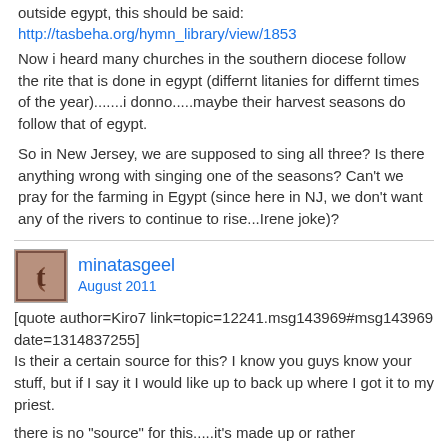outside egypt, this should be said:
http://tasbeha.org/hymn_library/view/1853
Now i heard many churches in the southern diocese follow the rite that is done in egypt (differnt litanies for differnt times of the year).......i donno.....maybe their harvest seasons do follow that of egypt.
So in New Jersey, we are supposed to sing all three? Is there anything wrong with singing one of the seasons? Can't we pray for the farming in Egypt (since here in NJ, we don't want any of the rivers to continue to rise...Irene joke)?
minatasgeel
August 2011
[quote author=Kiro7 link=topic=12241.msg143969#msg143969 date=1314837255]
Is their a certain source for this? I know you guys know your stuff, but if I say it I would like up to back up where I got it to my priest.
there is no "source" for this.....it's made up or rather constructed to match our seasons here in the states or for those outside in egypt in general.
minatasgeel